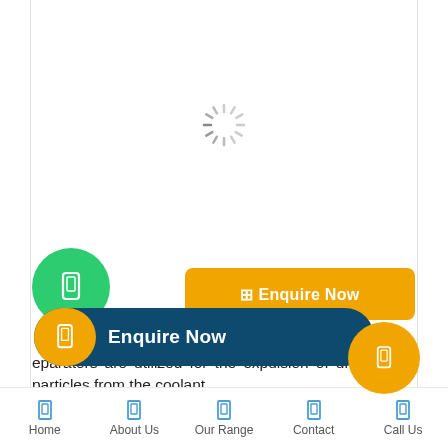[Figure (other): Loading spinner (circular dashed/segmented spinner icon) centered in the upper portion of the page]
[Figure (other): Green circular button with white rectangle/phone icon]
[Figure (other): Yellow/orange rectangular button with grid icon and text 'Enquire Now']
[Figure (other): Dark navy blue pill-shaped button with orange circle icon on left and white bold text 'Enquire Now']
[Figure (other): Orange circle with white rectangle icon on right side]
eparators are utilized for the expulsion of undesirable particles from the coolant.
Home   About Us   Our Range   Contact   Call Us